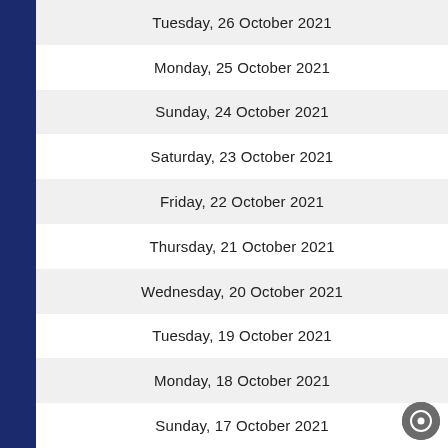Tuesday, 26 October 2021
Monday, 25 October 2021
Sunday, 24 October 2021
Saturday, 23 October 2021
Friday, 22 October 2021
Thursday, 21 October 2021
Wednesday, 20 October 2021
Tuesday, 19 October 2021
Monday, 18 October 2021
Sunday, 17 October 2021